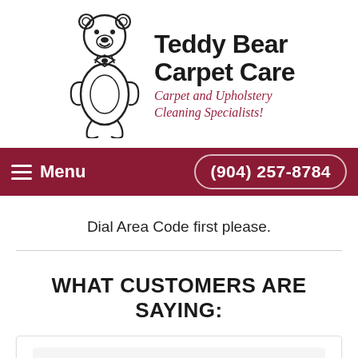[Figure (logo): Teddy Bear Carpet Care logo with cartoon bear illustration and text 'Teddy Bear Carpet Care - Carpet and Upholstery Cleaning Specialists!']
Menu  (904) 257-8784
Dial Area Code first please.
WHAT CUSTOMERS ARE SAYING:
[Figure (screenshot): Review card showing 5 stars, score 5.0, and date 07/19/2016]